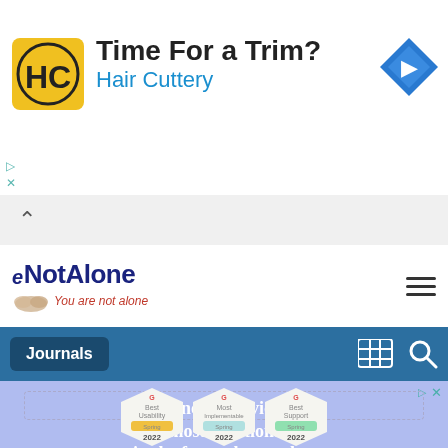[Figure (screenshot): Hair Cuttery advertisement banner with HC logo, text 'Time For a Trim?' and 'Hair Cuttery', blue navigation diamond icon, and ad controls]
[Figure (screenshot): Collapse/accordion bar with upward chevron arrow on gray background]
[Figure (logo): eNotAlone website header logo with tagline 'You are not alone' and hamburger menu icon]
[Figure (screenshot): Navigation bar with 'Journals' button on blue background and grid/search icons]
[Figure (screenshot): Canopy advertisement on purple-blue background with text 'Canopy provides the most functionality in the fewest keystrokes' and three G2 badges: Best Usability, Most Implementable, Best Support, all Spring 2022]